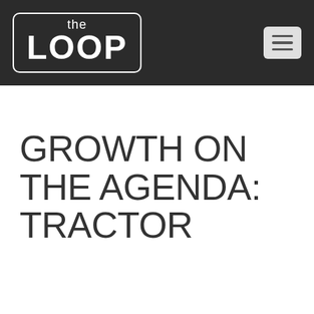the LOOP
GROWTH ON THE AGENDA: TRACTOR